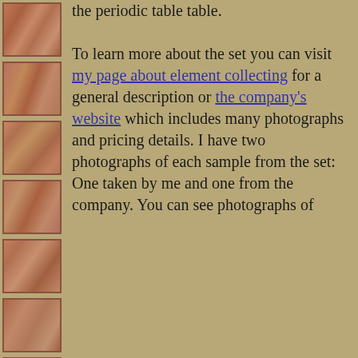[Figure (photo): Column of wooden tile/sample photographs arranged vertically on left side]
the periodic table table. To learn more about the set you can visit my page about element collecting for a general description or the company's website which includes many photographs and pricing details. I have two photographs of each sample from the set: One taken by me and one from the company. You can see photographs of